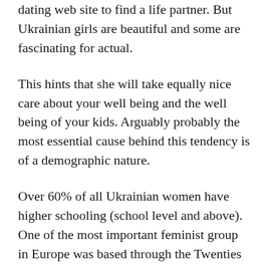dating web site to find a life partner. But Ukrainian girls are beautiful and some are fascinating for actual.
This hints that she will take equally nice care about your well being and the well being of your kids. Arguably probably the most essential cause behind this tendency is of a demographic nature.
Over 60% of all Ukrainian women have higher schooling (school level and above). One of the most important feminist group in Europe was based through the Twenties in modern western Ukraine or Galicia. The organization was called the Ukrainian Women's Union, and was led by Milena Rudnytska.
Ukrainian brides are considered essentially the most interesting and engaging. They have a really particular allure that cannot be spoilt by the